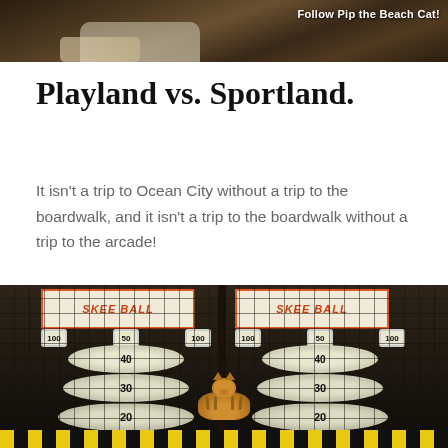[Figure (photo): Top cropped photo showing a cat on a surface with text overlay reading 'Follow Pip the Beach Cat!']
Playland vs. Sportland.
It isn't a trip to Ocean City without a trip to the boardwalk, and it isn't a trip to the boardwalk without a trip to the arcade!
[Figure (photo): Photo of skee ball lanes in an arcade with numbered scoring rings (10, 20, 30, 40, 50, 100) and a small orange cat visible at the bottom of the lane. Two skee ball machines visible side by side with orange and black signage.]